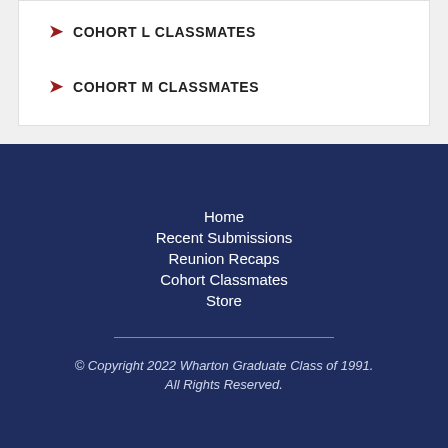COHORT L CLASSMATES
COHORT M CLASSMATES
Home
Recent Submissions
Reunion Recaps
Cohort Classmates
Store
© Copyright 2022 Wharton Graduate Class of 1991. All Rights Reserved.